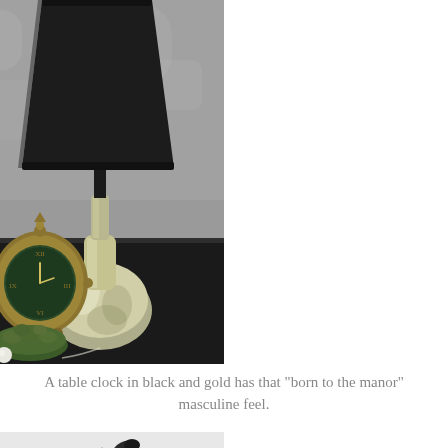[Figure (photo): A silver mercury glass lamp with a black shade sits on a dark table, accompanied by a vintage brass table clock with a dark green face showing Roman numerals, and a small decorative green moss-covered object.]
A table clock in black and gold has that "born to the manor" masculine feel.
[Figure (photo): Partial view of what appears to be a decorative metal object, possibly a figurine or hook, against a light background.]